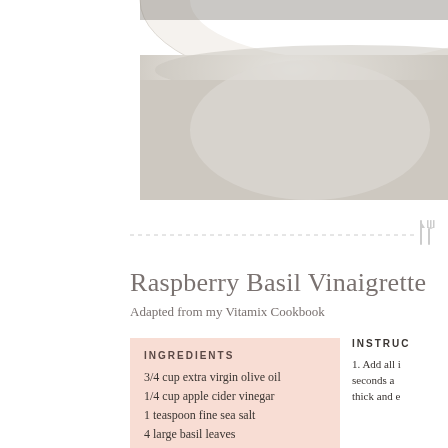[Figure (photo): Close-up photo of a white ceramic bowl or plate, showing curved rim against a warm gray/beige background. Only the right portion of the bowl is visible.]
Raspberry Basil Vinaigrette
Adapted from my Vitamix Cookbook
INGREDIENTS
3/4 cup extra virgin olive oil
1/4 cup apple cider vinegar
1 teaspoon fine sea salt
4 large basil leaves
INSTRUCTIONS
1. Add all i... seconds a... thick and e...